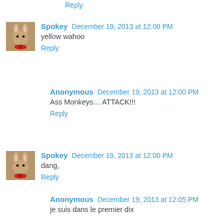Reply
Spokey  December 19, 2013 at 12:00 PM
yellow wahoo
Reply
Anonymous  December 19, 2013 at 12:00 PM
Ass Monkeys… ATTACK!!!
Reply
Spokey  December 19, 2013 at 12:00 PM
dang,
Reply
Anonymous  December 19, 2013 at 12:05 PM
je suis dans le premier dix